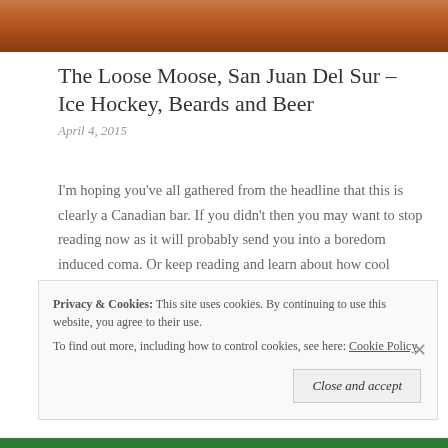[Figure (photo): Close-up photo of food, appears to be meat or bacon with orange-brown tones, cropped at top of page]
The Loose Moose, San Juan Del Sur – Ice Hockey, Beards and Beer
April 4, 2015
I'm hoping you've all gathered from the headline that this is clearly a Canadian bar. If you didn't then you may want to stop reading now as it will probably send you into a boredom induced coma. Or keep reading and learn about how cool Canadians are. Your call. We stumbled across this small Vancouverite run … More
Privacy & Cookies: This site uses cookies. By continuing to use this website, you agree to their use.
To find out more, including how to control cookies, see here: Cookie Policy
[Close and accept]